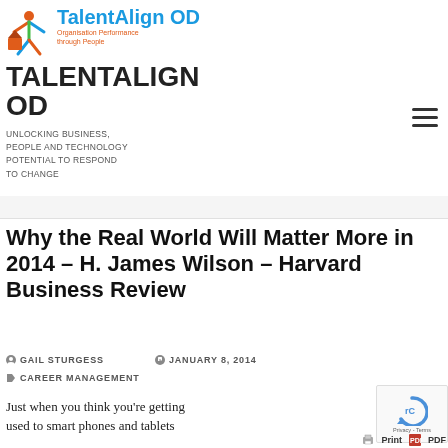[Figure (logo): TalentAlign OD logo with colourful figure icon and blue/orange text]
TALENTALIGN OD
UNLOCKING BUSINESS, PEOPLE AND TECHNOLOGY POTENTIAL TO RESPOND TO CHANGE
Why the Real World Will Matter More in 2014 – H. James Wilson – Harvard Business Review
GAIL STURGESS   JANUARY 8, 2014
CAREER MANAGEMENT
Just when you think you're getting used to smart phones and tablets